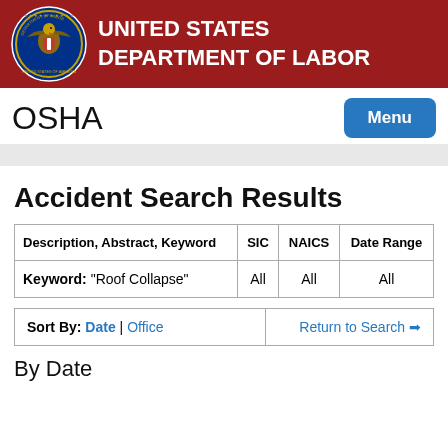UNITED STATES DEPARTMENT OF LABOR
OSHA
Accident Search Results
| Description, Abstract, Keyword | SIC | NAICS | Date Range |
| --- | --- | --- | --- |
| Keyword: "Roof Collapse" | All | All | All |
| Sort By: Date | Office | Return to Search ➔ |
By Date